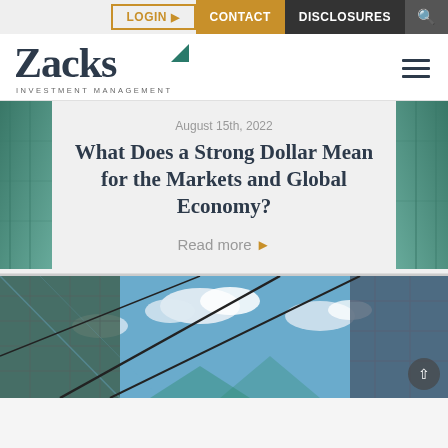LOGIN > | CONTACT | DISCLOSURES
[Figure (logo): Zacks Investment Management logo with teal triangle accent]
August 15th, 2022
What Does a Strong Dollar Mean for the Markets and Global Economy?
Read more ›
[Figure (photo): Glass building facade reflecting blue sky with clouds, viewed from below at an angle]